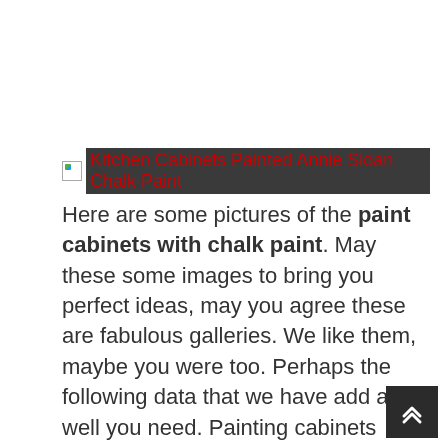[Figure (other): Broken image thumbnail with red link text 'Kitchen Cabinets Painted Annie Sloan Chalk Paint' on dark background]
Here are some pictures of the paint cabinets with chalk paint. May these some images to bring you perfect ideas, may you agree these are fabulous galleries. We like them, maybe you were too. Perhaps the following data that we have add as well you need. Painting cabinets chalk paint, Remember mood board created our den makeover been checking things off list getting close complete little bit slower project but completing time money allow last week shared.